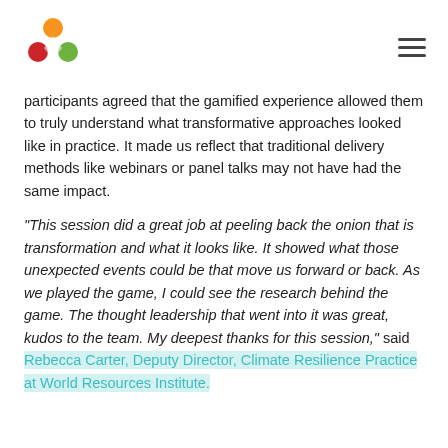[Logo] [Menu icon]
participants agreed that the gamified experience allowed them to truly understand what transformative approaches looked like in practice. It made us reflect that traditional delivery methods like webinars or panel talks may not have had the same impact.
"This session did a great job at peeling back the onion that is transformation and what it looks like. It showed what those unexpected events could be that move us forward or back. As we played the game, I could see the research behind the game. The thought leadership that went into it was great, kudos to the team. My deepest thanks for this session," said Rebecca Carter, Deputy Director, Climate Resilience Practice at World Resources Institute.